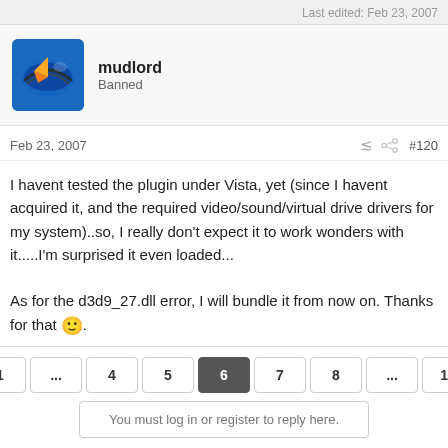Last edited: Feb 23, 2007
mudlord
Banned
Feb 23, 2007  #120
I havent tested the plugin under Vista, yet (since I havent acquired it, and the required video/sound/virtual drive drivers for my system)..so, I really don't expect it to work wonders with it.....I'm surprised it even loaded...

As for the d3d9_27.dll error, I will bundle it from now on. Thanks for that 🙂.
« Prev  1  ...  4  5  6  7  8  ...  19  Next »
You must log in or register to reply here.